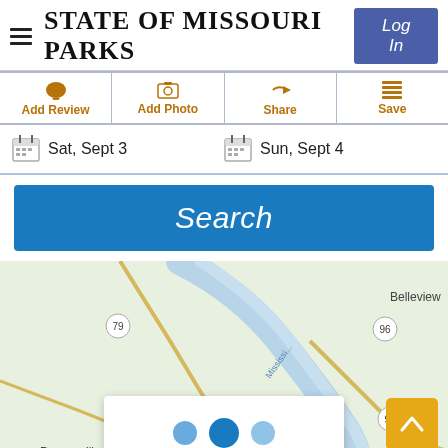STATE OF MISSOURI PARKS
Log In
Add Review
Add Photo
Share
Save
Sat, Sept 3
Sun, Sept 4
Search
[Figure (map): Map showing area near Belleview, Missouri with the Mississippi River running diagonally, roads including route 79 and 96, and location labels for Belleview and Paynesville.]
[Figure (infographic): Popup card with three dots (pagination indicators) in blue tones, and a back-to-top button in amber/yellow.]